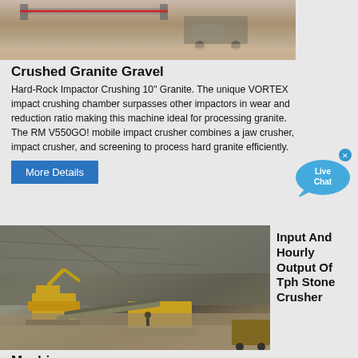[Figure (photo): Aerial view of mobile rock crushing machinery and equipment at a quarry/gravel site]
Crushed Granite Gravel
Hard-Rock Impactor Crushing 10" Granite. The unique VORTEX impact crushing chamber surpasses other impactors in wear and reduction ratio making this machine ideal for processing granite. The RM V550GO! mobile impact crusher combines a jaw crusher, impact crusher, and screening to process hard granite efficiently.
[Figure (other): Live Chat speech bubble widget with close X button]
More Details
[Figure (photo): Aerial view of large open-pit quarry with yellow excavation and crushing machinery processing stone and gravel]
Input And Hourly Output Of Tph Stone Crusher
Machine